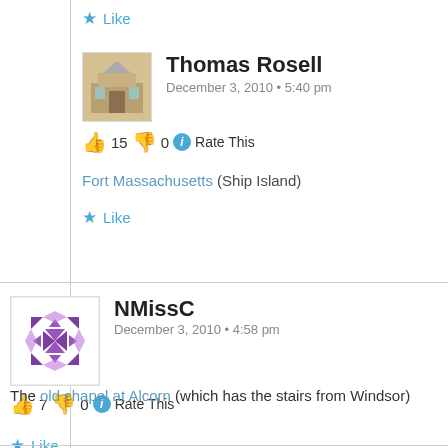Like
Thomas Rosell
December 3, 2010 • 5:40 pm
👍 15 👎 0 ℹ Rate This
Fort Massachusetts (Ship Island)
Like
NMissC
December 3, 2010 • 4:58 pm
👍 7 👎 0 ℹ Rate This
The old chapel at Alcorn (which has the stairs from Windsor)
Like